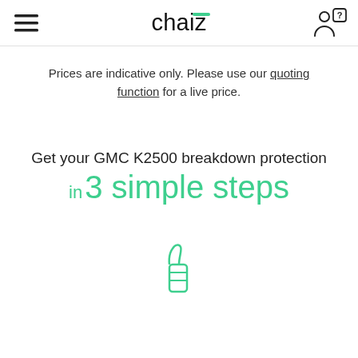chaiz
Prices are indicative only. Please use our quoting function for a live price.
Get your GMC K2500 breakdown protection in 3 simple steps
[Figure (illustration): Green thumbs-up / pointing finger icon at bottom of page]